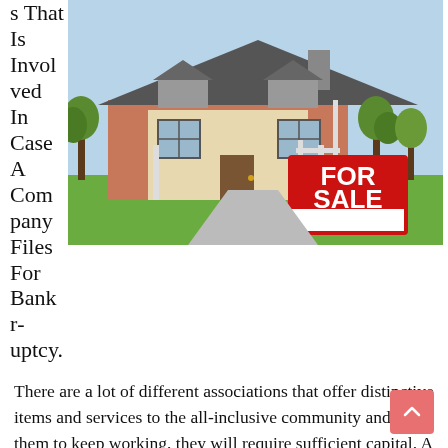s That Is Involved In Case A Company Files For Bankruptcy.
[Figure (photo): A house for sale with a red 'FOR SALE' sign on the front lawn, trees visible in background.]
There are a lot of different associations that offer distinctive items and services to the all-inclusive community and for them to keep working, they will require sufficient capital. A company needs enough capital time produce their merchandise, advertise them till potential clients and supply them to various sellers. There are also other additional costs that companies incur such as taxes, therefore, they need to make enough money to cater for all these costs. In general, the money that